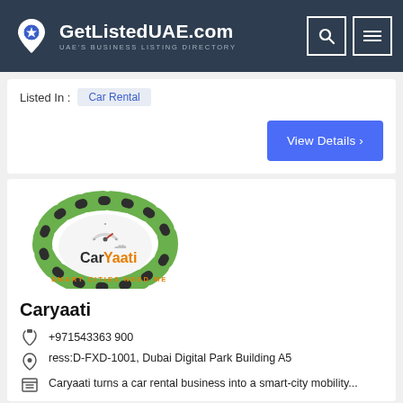GetListedUAE.com — UAE's Business Listing Directory
Listed In : Car Rental
View Details >
[Figure (logo): CarYaati logo — cloud shape with snake-like pattern, speedometer icon, orange and black text reading 'CarYaati', tagline 'SMART CITIES NEED ME']
Caryaati
+971543363 900
ress:D-FXD-1001, Dubai Digital Park Building A5
Caryaati turns a car rental business into a smart-city mobility...